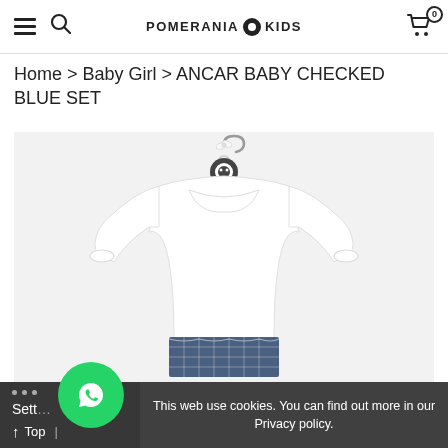POMERANIA KIDS
Home > Baby Girl > ANCAR BABY CHECKED BLUE SET
[Figure (photo): White long-sleeve baby blouse with peter pan collar hanging on a hanger, with a small bow at the top and a dark circular logo emblem, paired with a blue checked skirt visible at the bottom. Background is white/light grey.]
This web use cookies. You can find out more in our Privacy policy.